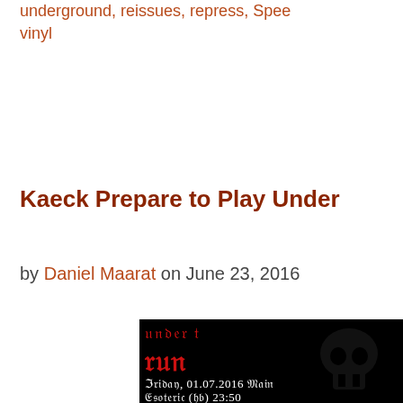underground, reissues, repress, Spee... vinyl
Kaeck Prepare to Play Under...
by Daniel Maarat on June 23, 2016
[Figure (photo): Black event flyer with gothic red text reading 'under t...' and 'run...' with date Friday, 01.07.2016 Main... Esoteric (HB) 23:50...]